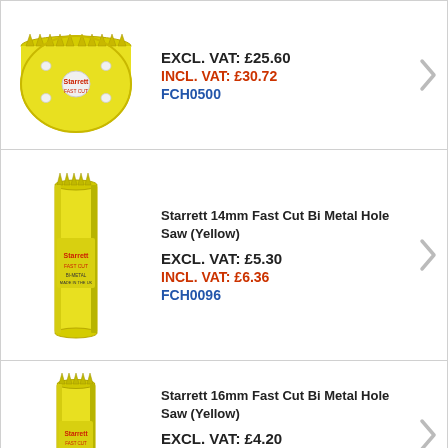[Figure (photo): Starrett large yellow hole saw (wide, circular), top-down slight angle view]
EXCL. VAT: £25.60
INCL. VAT: £30.72
FCH0500
[Figure (photo): Starrett 14mm Fast Cut Bi Metal Hole Saw (Yellow), tall cylindrical shape]
Starrett 14mm Fast Cut Bi Metal Hole Saw (Yellow)
EXCL. VAT: £5.30
INCL. VAT: £6.36
FCH0096
[Figure (photo): Starrett 16mm Fast Cut Bi Metal Hole Saw (Yellow), tall cylindrical shape]
Starrett 16mm Fast Cut Bi Metal Hole Saw (Yellow)
EXCL. VAT: £4.20
INCL. VAT: £5.04
FCH0058